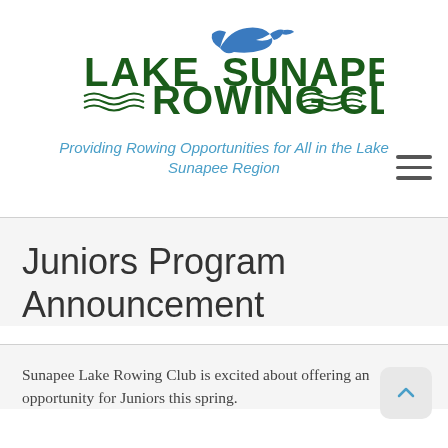[Figure (logo): Lake Sunapee Rowing Club logo with a blue goose/bird silhouette above text 'LAKE SUNAPEE ROWING CLUB' in dark green bold letters with wave decorations]
Providing Rowing Opportunities for All in the Lake Sunapee Region
Juniors Program Announcement
Sunapee Lake Rowing Club is excited about offering an opportunity for Juniors this spring.